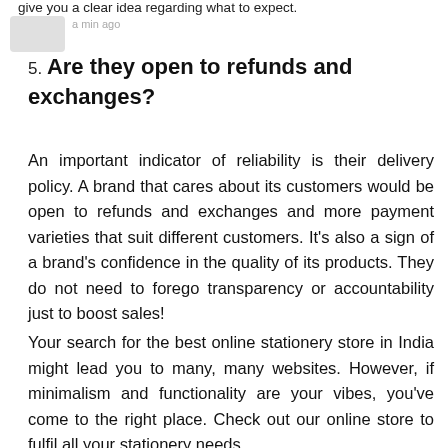give you a clear idea regarding what to expect.
5. Are they open to refunds and exchanges?
An important indicator of reliability is their delivery policy. A brand that cares about its customers would be open to refunds and exchanges and more payment varieties that suit different customers. It's also a sign of a brand's confidence in the quality of its products. They do not need to forego transparency or accountability just to boost sales!
Your search for the best online stationery store in India might lead you to many, many websites. However, if minimalism and functionality are your vibes, you've come to the right place. Check out our online store to fulfil all your stationery needs